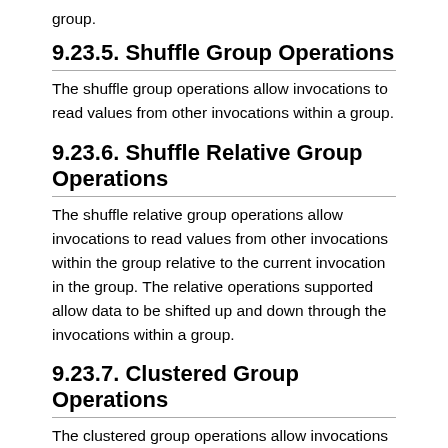group.
9.23.5. Shuffle Group Operations
The shuffle group operations allow invocations to read values from other invocations within a group.
9.23.6. Shuffle Relative Group Operations
The shuffle relative group operations allow invocations to read values from other invocations within the group relative to the current invocation in the group. The relative operations supported allow data to be shifted up and down through the invocations within a group.
9.23.7. Clustered Group Operations
The clustered group operations allow invocations to perform an operation among partitions of a group, such that the operation is only performed within the group invocations within a partition. The partitions for clustered